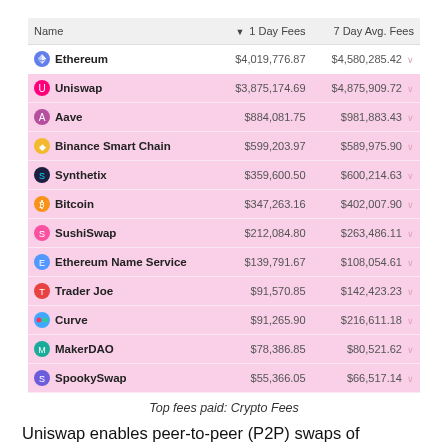| Name | 1 Day Fees | 7 Day Avg. Fees |
| --- | --- | --- |
| Ethereum | $4,019,776.87 | $4,580,285.42 |
| Uniswap | $3,875,174.69 | $4,875,909.72 |
| Aave | $884,081.75 | $981,883.43 |
| Binance Smart Chain | $599,203.97 | $589,975.90 |
| Synthetix | $359,600.50 | $600,214.63 |
| Bitcoin | $347,263.16 | $402,007.90 |
| SushiSwap | $212,084.80 | $263,486.11 |
| Ethereum Name Service | $139,791.67 | $108,054.61 |
| Trader Joe | $91,570.85 | $142,423.23 |
| Curve | $91,265.90 | $216,611.18 |
| MakerDAO | $78,386.85 | $80,521.62 |
| SpookySwap | $55,366.05 | $66,517.14 |
Top fees paid: Crypto Fees
Uniswap enables peer-to-peer (P2P) swaps of Ethereum-based tokens without having a central authority to facilitate trades.